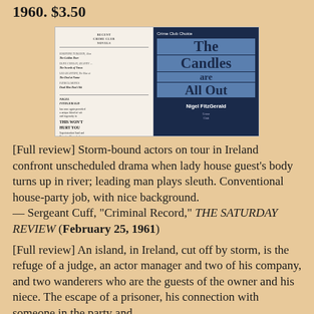1960. $3.50
[Figure (photo): Book cover image of 'The Candles are All Out' by Nigel FitzGerald, showing front and back covers. The left panel is a cream/white inner dust jacket with text listing Crime Club books. The right panel is a dark navy cover with 'Crime Club Choice' at top and the title 'The Candles are All Out' in large blue letters on a blue background, with author name Nigel FitzGerald at the bottom.]
[Full review] Storm-bound actors on tour in Ireland confront unscheduled drama when lady house guest's body turns up in river; leading man plays sleuth. Conventional house-party job, with nice background. — Sergeant Cuff, "Criminal Record," THE SATURDAY REVIEW (February 25, 1961)
[Full review] An island, in Ireland, cut off by storm, is the refuge of a judge, an actor manager and two of his company, and two wanderers who are the guests of the owner and his niece. The escape of a prisoner, his connection with someone in the party and